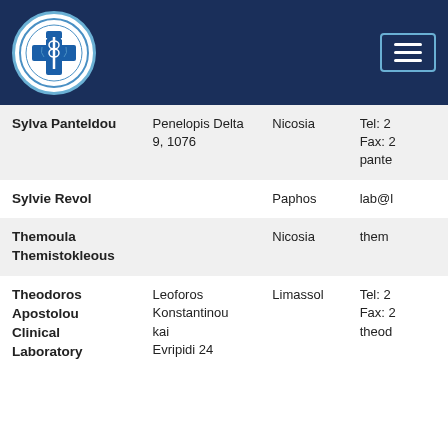[Figure (logo): Circular medical organization logo with blue cross and caduceus symbol on white background, set against dark navy blue header bar with hamburger menu button]
| Name | Address | City | Contact |
| --- | --- | --- | --- |
| Sylva Panteldou | Penelopis Delta 9, 1076 | Nicosia | Tel: 2
Fax: 2
pante |
| Sylvie Revol |  | Paphos | lab@l |
| Themoula Themistokleous |  | Nicosia | them |
| Theodoros Apostolou Clinical Laboratory | Leoforos Konstantinou kai Evripidi 24 | Limassol | Tel: 2
Fax: 2
theod |